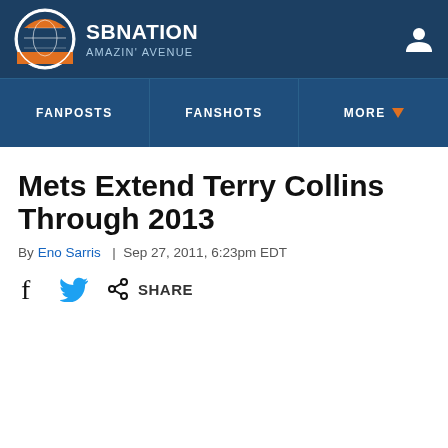SB NATION | AMAZIN' AVENUE
Mets Extend Terry Collins Through 2013
By Eno Sarris | Sep 27, 2011, 6:23pm EDT
SHARE